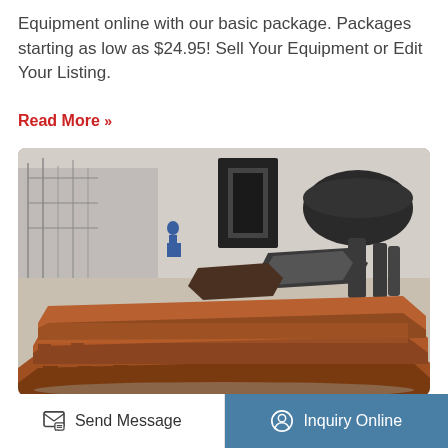Equipment online with our basic package. Packages starting as low as $24.95! Sell Your Equipment or Edit Your Listing.
Read More »
[Figure (photo): Industrial heavy equipment photo showing stacked rusted cast iron slabs/plates in a factory floor, with metal pipes and frames in the background. A worker in blue is visible in the far background. A 'TOP' button overlay appears in the upper-right of the image.]
Send Message
Inquiry Online